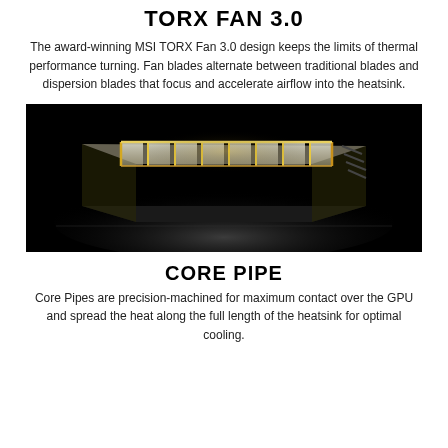TORX FAN 3.0
The award-winning MSI TORX Fan 3.0 design keeps the limits of thermal performance turning. Fan blades alternate between traditional blades and dispersion blades that focus and accelerate airflow into the heatsink.
[Figure (illustration): 3D render of a heatsink with glowing golden fins on a dark background, viewed from a low angle perspective showing the fin array with illuminated edges.]
CORE PIPE
Core Pipes are precision-machined for maximum contact over the GPU and spread the heat along the full length of the heatsink for optimal cooling.